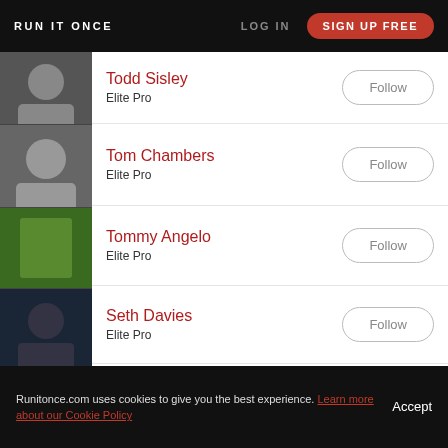RUN IT ONCE   LOG IN   SIGN UP FREE
Todd Sisley — Elite Pro — Follow
Tom Chambers — Elite Pro — Follow
Tommy Angelo — Elite Pro — Follow
Seth Davies — Elite Pro — Follow
Brian Rast — Elite Pro — Follow
Essential Pro — Follow
Runitonce.com uses cookies to give you the best experience. Learn more about our Cookie Policy   Accept